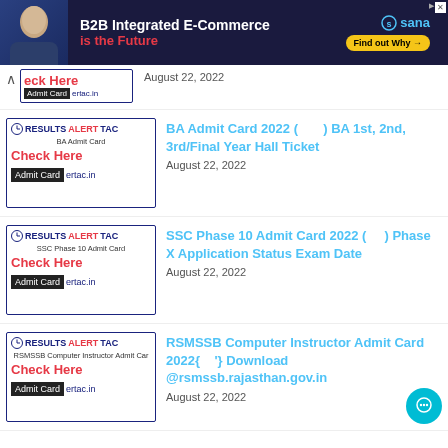[Figure (illustration): Advertisement banner: B2B Integrated E-Commerce is the Future - Sana Commerce. Dark navy background with person image on left, yellow Find out Why button.]
Check Here - Admit Card - ertac.in | August 22, 2022
BA Admit Card 2022 ( ) BA 1st, 2nd, 3rd/Final Year Hall Ticket | August 22, 2022
SSC Phase 10 Admit Card 2022 ( ) Phase X Application Status Exam Date | August 22, 2022
RSMSSB Computer Instructor Admit Card 2022{ '} Download @rsmssb.rajasthan.gov.in | August 22, 2022